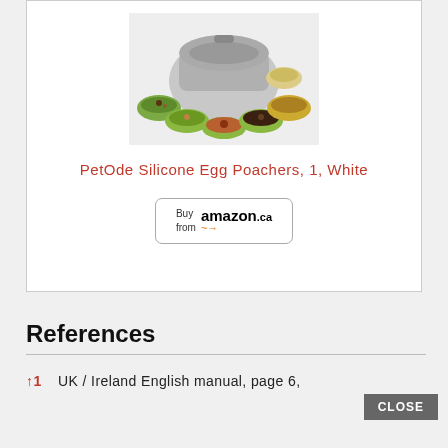[Figure (photo): Product photo of an air fryer/cooking appliance with multiple bowls of cooked food arranged around it on a white background]
PetOde Silicone Egg Poachers, 1, White
[Figure (other): Buy from amazon.ca button]
References
↑1   UK / Ireland English manual, page 6,